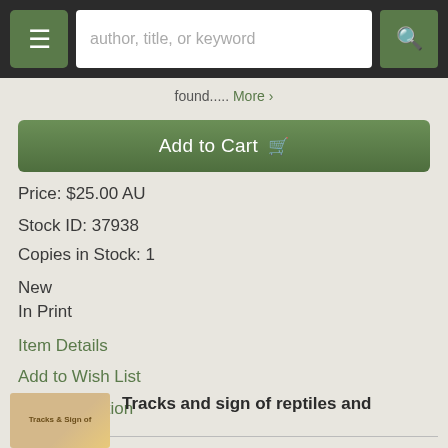author, title, or keyword
found..... More >
Add to Cart
Price: $25.00 AU
Stock ID: 37938
Copies in Stock: 1
New
In Print
Item Details
Add to Wish List
Ask a Question
Tracks and sign of reptiles and